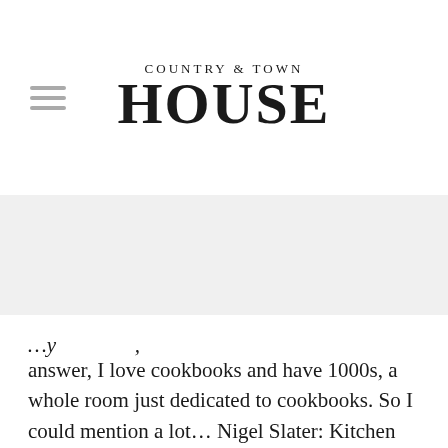COUNTRY & TOWN HOUSE
answer, I love cookbooks and have 1000s, a whole room just dedicated to cookbooks. So I could mention a lot… Nigel Slater: Kitchen Diaries, and another Danish Classic called: Frøken Jensens kogebog, which is more than 100 years old. Then in recent years, I have enjoyed immensely reading The Bloomsbury Cookbook, probably because Virginia Woolf is one of my favourite authors. I would just like to have time to cook my way through it while I imagine all the